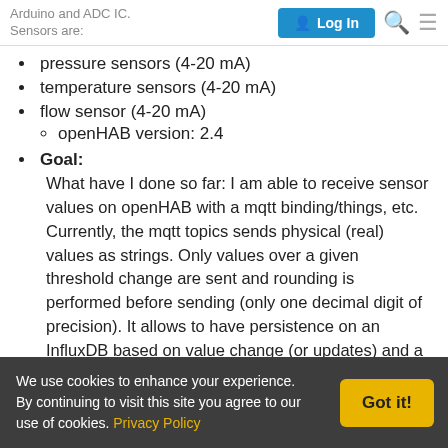Arduino and ADC IC. Sensors are:
pressure sensors (4-20 mA)
temperature sensors (4-20 mA)
flow sensor (4-20 mA)
openHAB version: 2.4
Goal:
What have I done so far: I am able to receive sensor values on openHAB with a mqtt binding/things, etc. Currently, the mqtt topics sends physical (real) values as strings. Only values over a given threshold change are sent and rounding is performed before sending (only one decimal digit of precision). It allows to have persistence on an InfluxDB based on value change (or updates) and a 5 minute cron. It works very well 🙂 But openHAB does not
We use cookies to enhance your experience. By continuing to visit this site you agree to our use of cookies. Privacy Policy